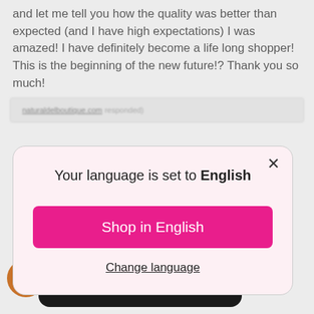and let me tell you how the quality was better than expected (and I have high expectations) I was amazed! I have definitely become a life long shopper! This is the beginning of the new future!? Thank you so much!
[Figure (screenshot): Language selection modal dialog over a website. Modal shows 'Your language is set to English', a pink 'Shop in English' button, and a 'Change language' link. Below is a dark chat widget in Spanish.]